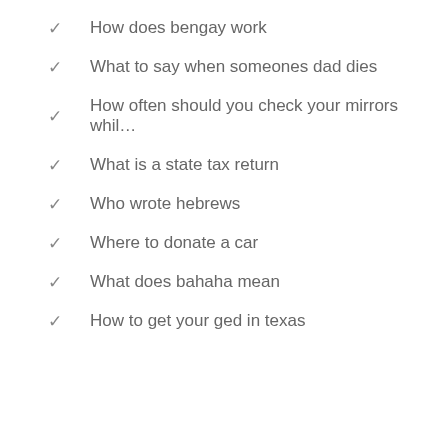How does bengay work
What to say when someones dad dies
How often should you check your mirrors whil…
What is a state tax return
Who wrote hebrews
Where to donate a car
What does bahaha mean
How to get your ged in texas